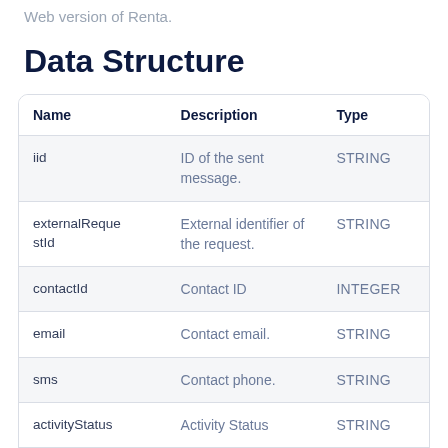Web version of Renta.
Data Structure
| Name | Description | Type |
| --- | --- | --- |
| iid | ID of the sent message. | STRING |
| externalRequestId | External identifier of the request. | STRING |
| contactId | Contact ID | INTEGER |
| email | Contact email. | STRING |
| sms | Contact phone. | STRING |
| activityStatus | Activity Status | STRING |
| messageId | The message id. | INTEGER |